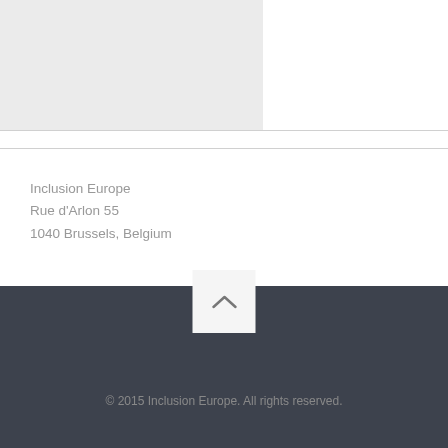Inclusion Europe
Rue d'Arlon 55
1040 Brussels, Belgium
Privacy policy
© 2015 Inclusion Europe. All rights reserved.